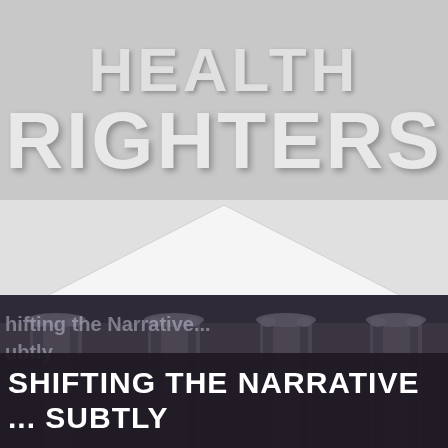HEALTH RIGHTERS
[Figure (illustration): Illustrated building with classical columns and a triangular roof/pediment, shown from a low angle perspective. The building has dark charcoal-colored columns and walls with a white triangular roof peak.]
Shifting the Narrative... Subtly
SHIFTING THE NARRATIVE ... SUBTLY